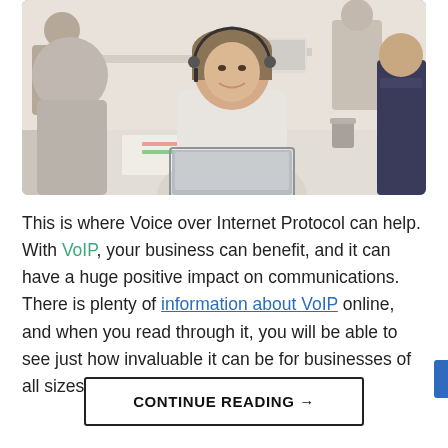[Figure (photo): Office environment with a smiling woman wearing a headset seated at a desk with a laptop, surrounded by colleagues in a bright office setting.]
This is where Voice over Internet Protocol can help. With VoIP, your business can benefit, and it can have a huge positive impact on communications. There is plenty of information about VoIP online, and when you read through it, you will be able to see just how invaluable it can be for businesses of all sizes....
CONTINUE READING →